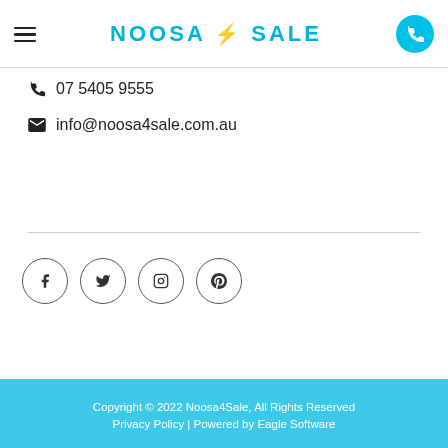[Figure (logo): Noosa4Sale logo with hamburger menu icon on left and phone button on right in the header]
07 5405 9555
info@noosa4sale.com.au
[Figure (illustration): Social media icons: Facebook, Twitter, Instagram, Pinterest in circular outlines]
Copyright © 2022 Noosa4Sale, All Rights Reserved
Privacy Policy | Powered by Eagle Software